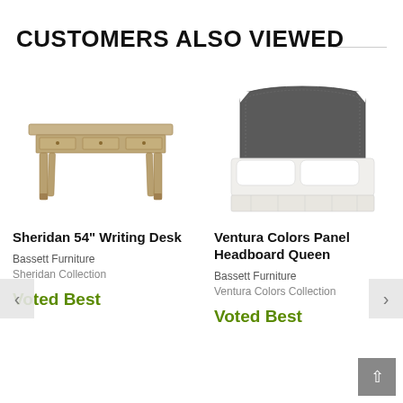CUSTOMERS ALSO VIEWED
[Figure (illustration): Sheridan 54" Writing Desk product image - a wooden writing desk with three drawers and tapered legs in a light natural finish]
Sheridan 54" Writing Desk
Bassett Furniture
Sheridan Collection
Voted Best
[Figure (illustration): Ventura Colors Panel Headboard Queen product image - an upholstered queen headboard in dark gray fabric with clipped corners, shown with white bedding]
Ventura Colors Panel Headboard Queen
Bassett Furniture
Ventura Colors Collection
Voted Best